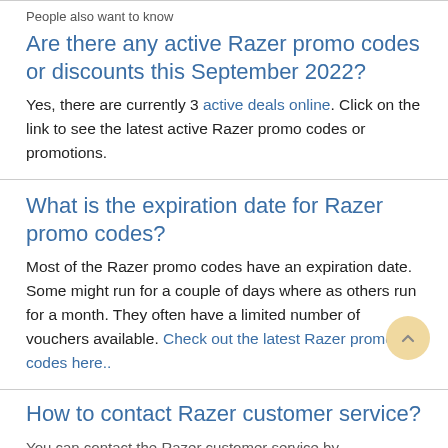People also want to know
Are there any active Razer promo codes or discounts this September 2022?
Yes, there are currently 3 active deals online. Click on the link to see the latest active Razer promo codes or promotions.
What is the expiration date for Razer promo codes?
Most of the Razer promo codes have an expiration date. Some might run for a couple of days where as others run for a month. They often have a limited number of vouchers available. Check out the latest Razer promo codes here..
How to contact Razer customer service?